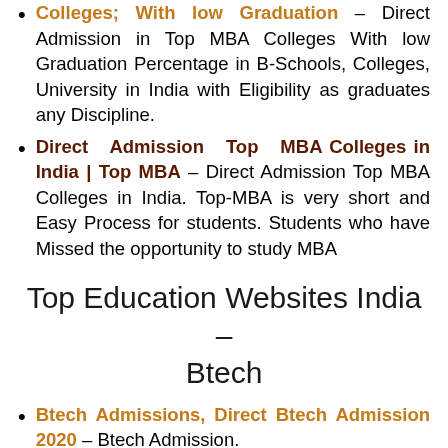Colleges; With low Graduation – Direct Admission in Top MBA Colleges With low Graduation Percentage in B-Schools, Colleges, University in India with Eligibility as graduates any Discipline.
Direct Admission Top MBA Colleges in India | Top MBA – Direct Admission Top MBA Colleges in India. Top-MBA is very short and Easy Process for students. Students who have Missed the opportunity to study MBA
Top Education Websites India – Btech
Btech Admissions, Direct Btech Admission 2020 – Btech Admission.